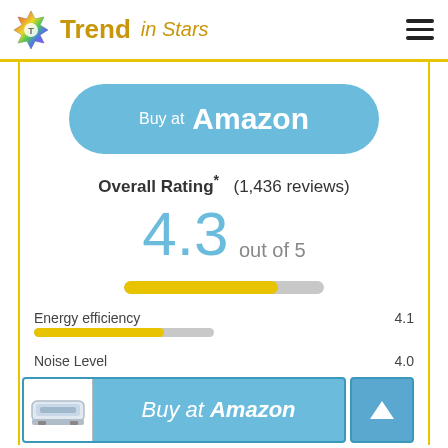Trend in Stars
[Figure (screenshot): Buy at Amazon button (blue rounded rectangle with white text)]
Overall Rating* (1,436 reviews)
4.3 out of 5
[Figure (other): Yellow rating progress bar showing approximately 4.3/5]
Energy efficiency    4.1
[Figure (other): Buy at Amazon advertisement bar at bottom with AC unit image and up-arrow button]
Noise Level    4.0